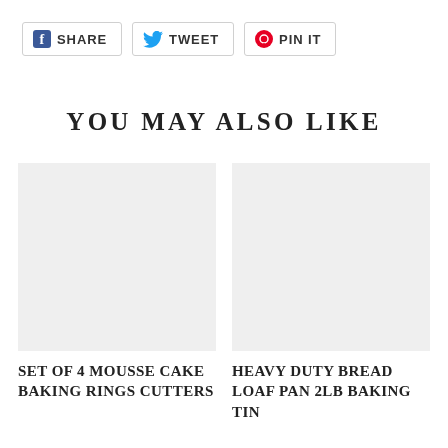[Figure (other): Social share buttons: SHARE (Facebook), TWEET (Twitter), PIN IT (Pinterest)]
YOU MAY ALSO LIKE
[Figure (photo): Product image placeholder (light gray) for SET OF 4 MOUSSE CAKE BAKING RINGS CUTTERS]
SET OF 4 MOUSSE CAKE BAKING RINGS CUTTERS
[Figure (photo): Product image placeholder (light gray) for HEAVY DUTY BREAD LOAF PAN 2LB BAKING TIN]
HEAVY DUTY BREAD LOAF PAN 2LB BAKING TIN